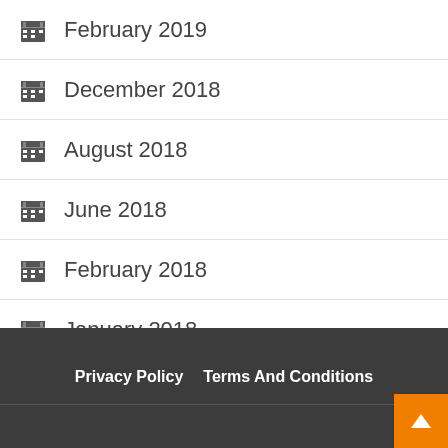February 2019
December 2018
August 2018
June 2018
February 2018
January 2018
February 2017
January 2011
Privacy Policy   Terms And Conditions